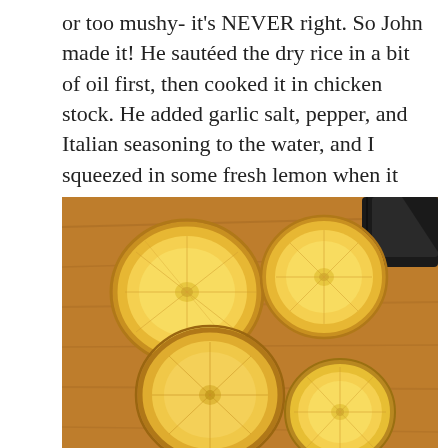or too mushy- it's NEVER right. So John made it! He sautéed the dry rice in a bit of oil first, then cooked it in chicken stock. He added garlic salt, pepper, and Italian seasoning to the water, and I squeezed in some fresh lemon when it was done. It turned out perfectly done– and scrumptious!
[Figure (photo): Four halved lemons cut side up on a wooden cutting board, with a knife handle visible in the upper right corner.]